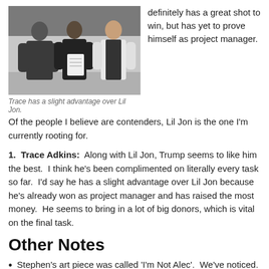[Figure (photo): Three people standing indoors, two on the left in dark clothing, one on the right in a white shirt and dark vest, reviewing documents.]
Trace has a slight advantage over Lil Jon.
definitely has a great shot to win, but has yet to prove himself as project manager.  Of the people I believe are contenders, Lil Jon is the one I'm currently rooting for.
1.  Trace Adkins:  Along with Lil Jon, Trump seems to like him the best.  I think he's been complimented on literally every task so far.  I'd say he has a slight advantage over Lil Jon because he's already won as project manager and has raised the most money.  He seems to bring in a lot of big donors, which is vital on the final task.
Other Notes
Stephen's art piece was called 'I'm Not Alec'.  We've noticed.